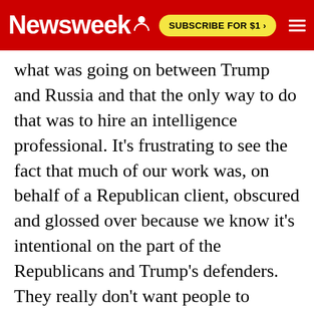Newsweek | SUBSCRIBE FOR $1 >
what was going on between Trump and Russia and that the only way to do that was to hire an intelligence professional. It's frustrating to see the fact that much of our work was, on behalf of a Republican client, obscured and glossed over because we know it's intentional on the part of the Republicans and Trump's defenders. They really don't want people to understand that, because it blows apart their conspiracy theory, which is that this was a Democratic plot to take down Donald Trump. Obviously, we did have a Democratic client in